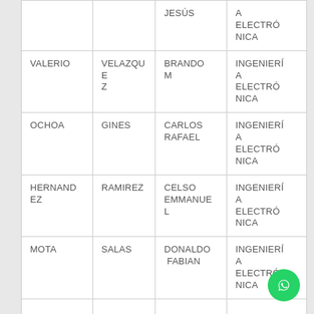|  |  | JESÚS | A ELECTRÓNICA |
| VALERIO | VELAZQUEZ | BRANDON | INGENIERÍA ELECTRÓNICA |
| OCHOA | GINES | CARLOS RAFAEL | INGENIERÍA ELECTRÓNICA |
| HERNANDEZ | RAMIREZ | CELSO EMMANUEL | INGENIERÍA ELECTRÓNICA |
| MOTA | SALAS | DONALDO FABIAN | INGENIERÍA ELECTRÓNICA |
|  |  |  |  |